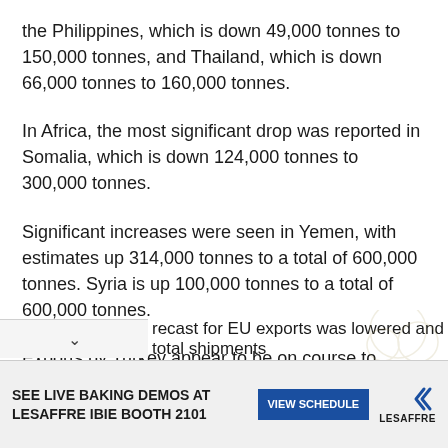the Philippines, which is down 49,000 tonnes to 150,000 tonnes, and Thailand, which is down 66,000 tonnes to 160,000 tonnes.
In Africa, the most significant drop was reported in Somalia, which is down 124,000 tonnes to 300,000 tonnes.
Significant increases were seen in Yemen, with estimates up 314,000 tonnes to a total of 600,000 tonnes. Syria is up 100,000 tonnes to a total of 600,000 tonnes.
Exports by Turkey appear to be on course to surpass the year before, with an increase of 100,000 tonnes to 5.1 million tonnes, including increased volumes to Near East Asia and sub-Saharan Africa.
recast for EU exports was lowered and total shipments
SEE LIVE BAKING DEMOS AT LESAFFRE IBIE BOOTH 2101
VIEW SCHEDULE
LESAFFRE